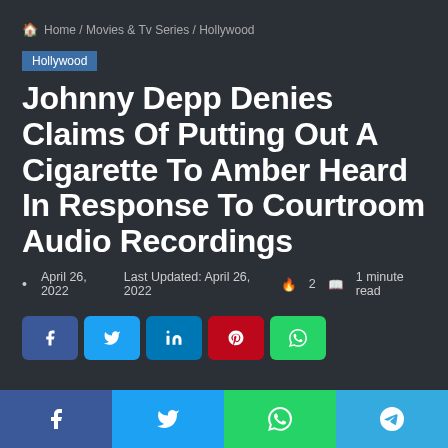Home / Movies & Tv Series / Hollywood
Hollywood
Johnny Depp Denies Claims Of Putting Out A Cigarette To Amber Heard In Response To Courtroom Audio Recordings
April 26, 2022  Last Updated: April 26, 2022  🔥 2  📖 1 minute read
[Figure (other): Social share buttons: Facebook, Twitter, LinkedIn, Pinterest, WhatsApp]
Bottom share bar: Facebook, Twitter, WhatsApp, Telegram icons